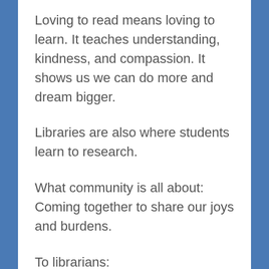Loving to read means loving to learn. It teaches understanding, kindness, and compassion. It shows us we can do more and dream bigger.
Libraries are also where students learn to research.
What community is all about: Coming together to share our joys and burdens.
To librarians:
Never forget that what you’re doing matters. Someone’s a better thinker, is kinder, stands a